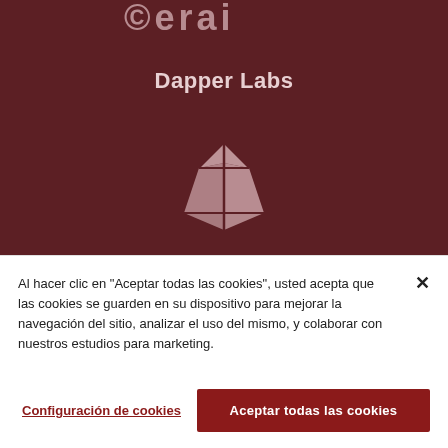[Figure (logo): Partial curved logo text in pinkish-white on dark maroon background, top of page]
Dapper Labs
[Figure (logo): Dapper Labs diamond/gem logo icon in pinkish-white on dark maroon background]
Al hacer clic en “Aceptar todas las cookies”, usted acepta que las cookies se guarden en su dispositivo para mejorar la navegación del sitio, analizar el uso del mismo, y colaborar con nuestros estudios para marketing.
Configuración de cookies
Aceptar todas las cookies